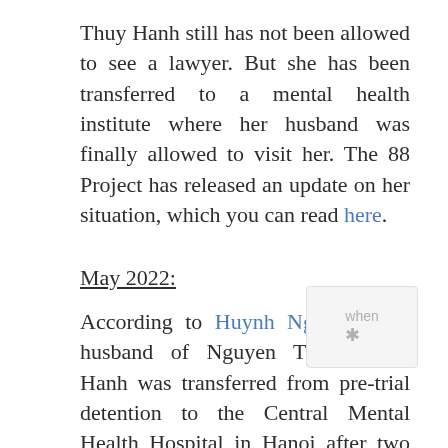Thuy Hanh still has not been allowed to see a lawyer. But she has been transferred to a mental health institute where her husband was finally allowed to visit her. The 88 Project has released an update on her situation, which you can read here.
May 2022:
According to Huynh Ngoc Chenh, husband of Nguyen Thuy Hanh, Hanh was transferred from pre-trial detention to the Central Mental Health Hospital in Hanoi after two medical examinations determined she was suffering from severe depression. Chenh said when he went to the detention center on May 6, he was told that Hanh had been admitted near the end of April. They also told him that